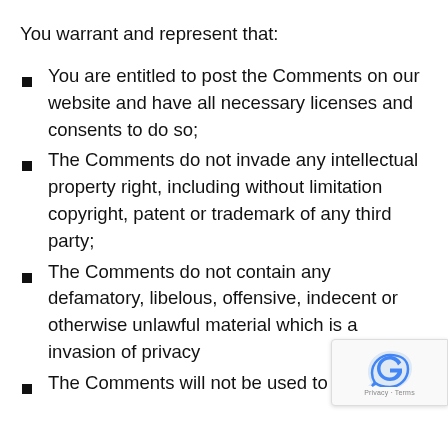You warrant and represent that:
You are entitled to post the Comments on our website and have all necessary licenses and consents to do so;
The Comments do not invade any intellectual property right, including without limitation copyright, patent or trademark of any third party;
The Comments do not contain any defamatory, libelous, offensive, indecent or otherwise unlawful material which is a invasion of privacy
The Comments will not be used to solicit or